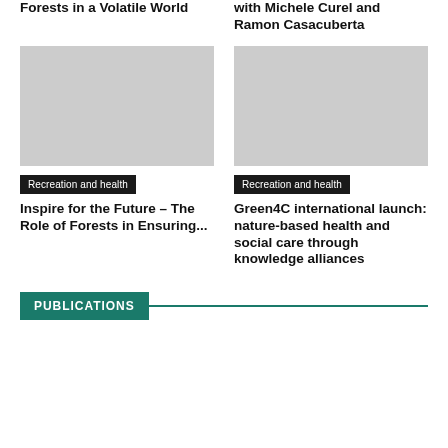Forests in a Volatile World
with Michele Curel and Ramon Casacuberta
[Figure (photo): Image placeholder for article about forests]
[Figure (photo): Image placeholder for recreation and health article]
Recreation and health
Recreation and health
Inspire for the Future – The Role of Forests in Ensuring...
Green4C international launch: nature-based health and social care through knowledge alliances
PUBLICATIONS